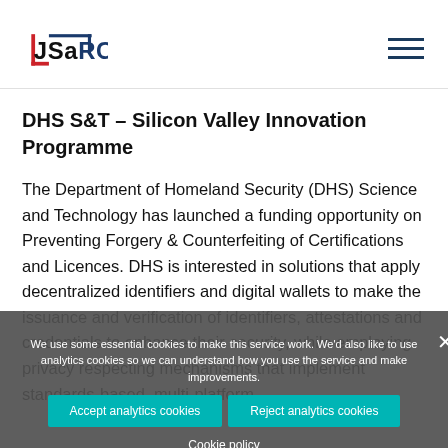JSaRC logo and navigation menu
DHS S&T – Silicon Valley Innovation Programme
The Department of Homeland Security (DHS) Science and Technology has launched a funding opportunity on Preventing Forgery & Counterfeiting of Certifications and Licences. DHS is interested in solutions that apply decentralized identifiers and digital wallets to make the issuance and verification of identifiers, attestations and credentials to enhance their security, while employing privacy respecting mechanisms that implement standards-based, multi-platform
We use some essential cookies to make this service work. We'd also like to use analytics cookies so we can understand how you use the service and make improvements.
Accept analytics cookies  Reject analytics cookies  Cookie policy